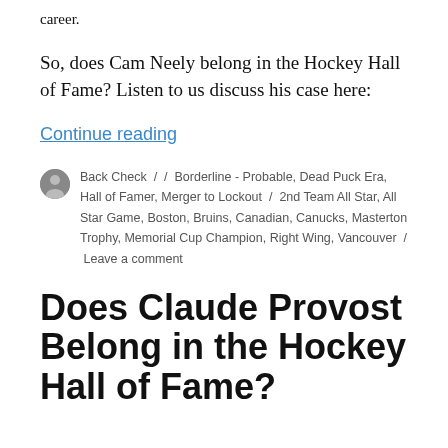career.
So, does Cam Neely belong in the Hockey Hall of Fame? Listen to us discuss his case here:
Continue reading
Back Check / / Borderline - Probable, Dead Puck Era, Hall of Famer, Merger to Lockout / 2nd Team All Star, All Star Game, Boston, Bruins, Canadian, Canucks, Masterton Trophy, Memorial Cup Champion, Right Wing, Vancouver / Leave a comment
Does Claude Provost Belong in the Hockey Hall of Fame?